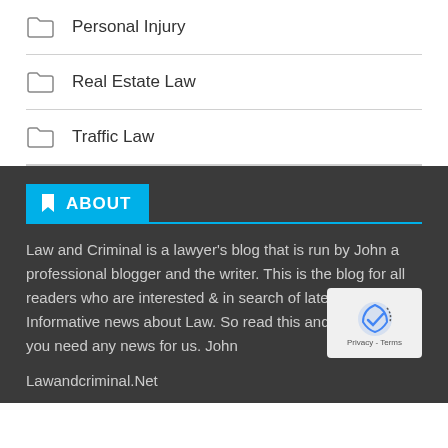Personal Injury
Real Estate Law
Traffic Law
ABOUT
Law and Criminal is a lawyer's blog that is run by John a professional blogger and the writer. This is the blog for all readers who are interested & in search of latest & Informative news about Law. So read this and contact us if you need any news for us. John
Lawandcriminal.Net